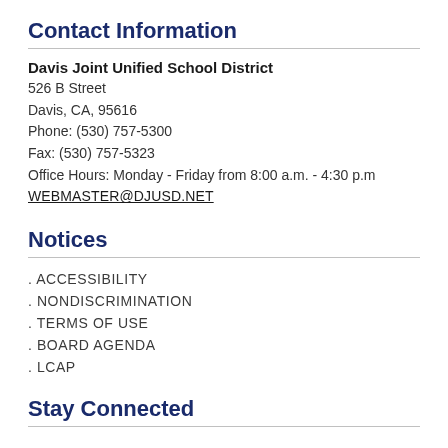Contact Information
Davis Joint Unified School District
526 B Street
Davis, CA,  95616
Phone: (530) 757-5300
Fax: (530) 757-5323
Office Hours: Monday - Friday from 8:00 a.m. - 4:30 p.m
WEBMASTER@DJUSD.NET
Notices
. ACCESSIBILITY
. NONDISCRIMINATION
. TERMS OF USE
. BOARD AGENDA
. LCAP
Stay Connected